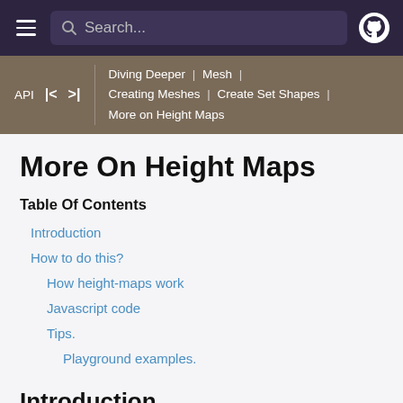Search... [navbar with hamburger, search, github icon]
API | |< | >| | Diving Deeper | Mesh | Creating Meshes | Create Set Shapes | More on Height Maps
More On Height Maps
Table Of Contents
Introduction
How to do this?
How height-maps work
Javascript code
Tips.
Playground examples.
Introduction
In this tutorial, our goal is to understand height maps, a